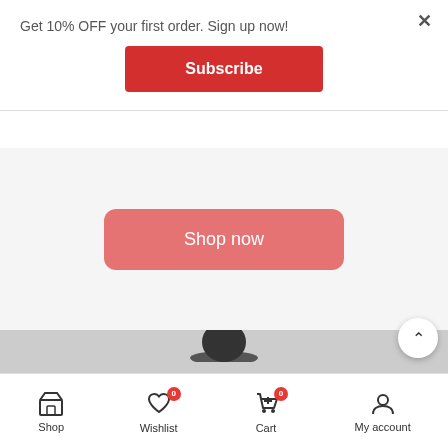Get 10% OFF your first order. Sign up now!
Subscribe
Shop now
[Figure (screenshot): Product image area showing a dark hat partially visible above a gray background region]
Shop | Wishlist (0) | Cart (0) | My account